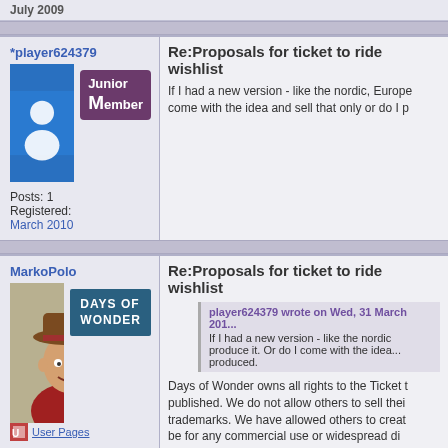July 2009
*player624379
Re:Proposals for ticket to ride wishlist
[Figure (illustration): Blue avatar placeholder with white silhouette of a person]
Junior Member
Posts: 1
Registered:
March 2010
If I had a new version - like the nordic, Europe... come with the idea and sell that only or do I p...
MarkoPolo
Re:Proposals for ticket to ride wishlist
[Figure (illustration): Illustrated avatar of a man in a cowboy/adventure hat, colorful painted style]
Days of Wonder
User Pages
Posts: 140
Registered:
October 2002
player624379 wrote on Wed, 31 March 201...
If I had a new version - like the nordic, produce it. Or do I come with the idea... produced.
Days of Wonder owns all rights to the Ticket t... published. We do not allow others to sell thei... trademarks. We have allowed others to creat... be for any commercial use or widespread di...